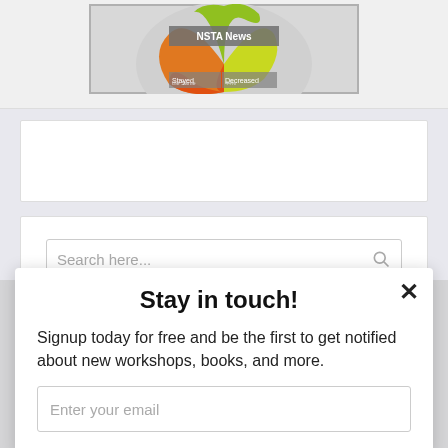[Figure (screenshot): Partial view of an NSTA News article with a colorful pie/donut chart showing segments labeled 'Stayed the Same' and 'Decreased 44%' among others]
Search here...
Stay in touch!
Signup today for free and be the first to get notified about new workshops, books, and more.
Enter your email